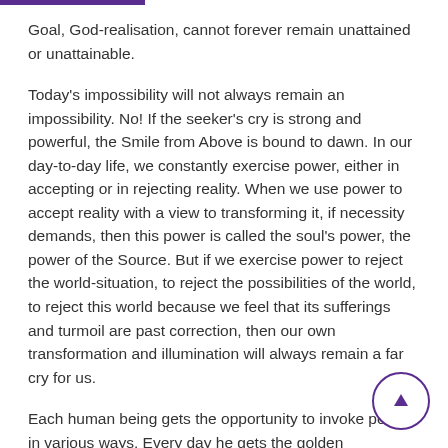Goal, God-realisation, cannot forever remain unattained or unattainable.
Today's impossibility will not always remain an impossibility. No! If the seeker's cry is strong and powerful, the Smile from Above is bound to dawn. In our day-to-day life, we constantly exercise power, either in accepting or in rejecting reality. When we use power to accept reality with a view to transforming it, if necessity demands, then this power is called the soul's power, the power of the Source. But if we exercise power to reject the world-situation, to reject the possibilities of the world, to reject this world because we feel that its sufferings and turmoil are past correction, then our own transformation and illumination will always remain a far cry for us.
Each human being gets the opportunity to invoke power in various ways. Every day he gets the golden opportunity to invoke power with his hope. Hope is nothing but concealed power. When we cherish hope, we must know that we are consciously or unconsciously invoking an inner or higher